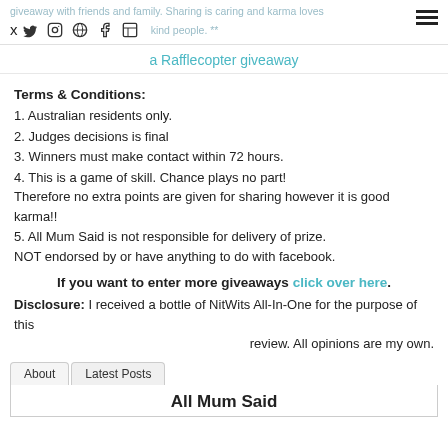giveaway with friends and family. Sharing is caring and karma loves kind people. **  [social icons] [hamburger menu]
a Rafflecopter giveaway
Terms & Conditions:
1. Australian residents only.
2. Judges decisions is final
3. Winners must make contact within 72 hours.
4. This is a game of skill. Chance plays no part! Therefore no extra points are given for sharing however it is good karma!!
5. All Mum Said is not responsible for delivery of prize. NOT endorsed by or have anything to do with facebook.
If you want to enter more giveaways click over here.
Disclosure: I received a bottle of NitWits All-In-One for the purpose of this review. All opinions are my own.
About  Latest Posts
All Mum Said